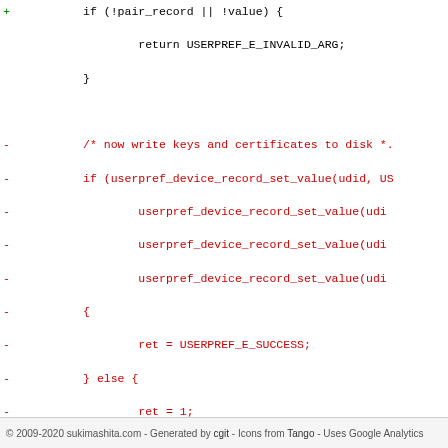[Figure (screenshot): Code diff showing removed (red) and added (green) lines of C source code. The removed lines involve userpref_device_record_set_value calls and conditionals. The added lines involve plist_dict_get_item, plist_dict_remove_item, and plist_dict_set_item calls.]
© 2009-2020 sukimashita.com - Generated by cgit - Icons from Tango - Uses Google Analytics